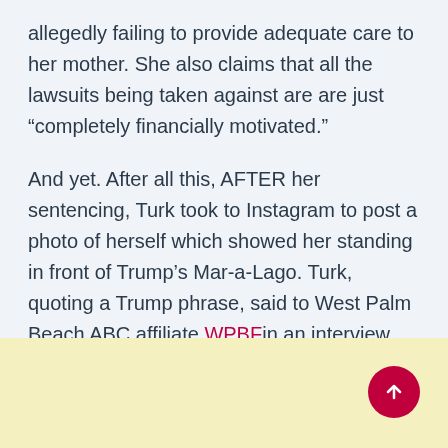allegedly failing to provide adequate care to her mother. She also claims that all the lawsuits being taken against are are just “completely financially motivated.”
And yet. After all this, AFTER her sentencing, Turk took to Instagram to post a photo of herself which showed her standing in front of Trump’s Mar-a-Lago. Turk, quoting a Trump phrase, said to West Palm Beach ABC affiliate WPBF in an interview, “In a lot of ways, this seems like a witch hunt against me, and I think a lot of it is because of my political affiliation.”